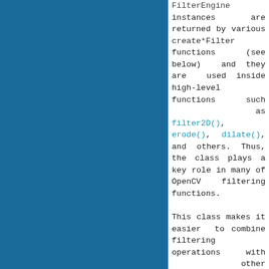[Figure (other): Solid dark teal/blue rectangle occupying the left portion of the page]
FilterEngine instances are returned by various create*Filter functions (see below) and they are used inside high-level functions such as filter2D(), erode(), dilate(), and others. Thus, the class plays a key role in many of OpenCV filtering functions.

This class makes it easier to combine filtering operations with other operations, such